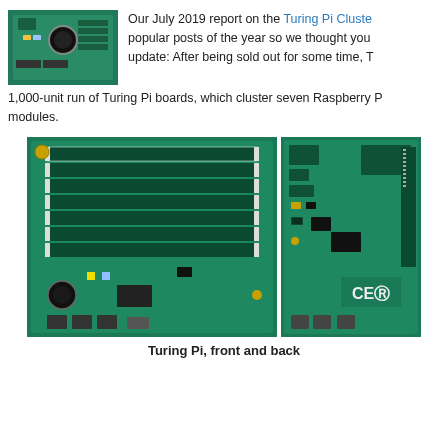[Figure (photo): Small thumbnail photo of a Turing Pi cluster board, green PCB with components, top-left of page]
Our July 2019 report on the Turing Pi Cluster was one of our most popular posts of the year so we thought you'd enjoy this exciting update: After being sold out for some time, Turing Pi has started a 1,000-unit run of Turing Pi boards, which cluster seven Raspberry Pi modules.
[Figure (photo): Large photo of Turing Pi board front view, green PCB with multiple SODIMM slots arranged in rows, USB ports and connectors at bottom]
[Figure (photo): Photo of Turing Pi board back view, green PCB with CE marking visible, connectors at bottom right]
Turing Pi, front and back